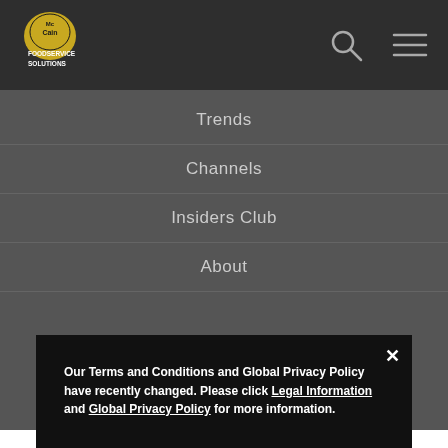[Figure (logo): McCain Foodservice Solutions logo - gold oval with McCains text and white Foodservice Solutions text below]
Trends
Channels
Insiders Club
About
Our Terms and Conditions and Global Privacy Policy have recently changed. Please click Legal Information and Global Privacy Policy for more information.
We use cookies and other technologies to offer you the best experience online. By continuing to use our website, you agree to the use of cookies and other technologies. If you would like to know more about cookies and other technologies and how to manage them, please view our Global Privacy Policy.